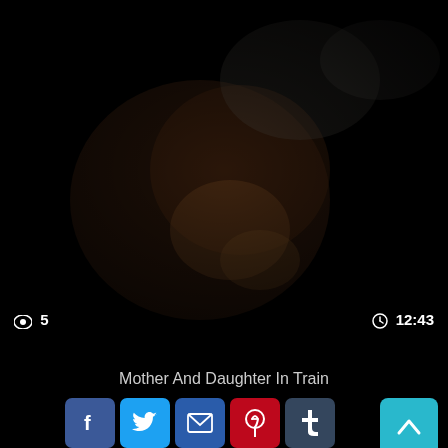[Figure (screenshot): Dark video thumbnail showing a dimly lit scene, near black with some brownish tones suggesting figures in a dark environment.]
👁 5   🕐 12:43
👍 0%
Mother And Daughter In Train
[Figure (infographic): Social sharing buttons: Facebook, Twitter, Email, Pinterest, Tumblr (top row); Reddit, Blogger, WordPress, VK, More (bottom row). Scroll-to-top button on the right.]